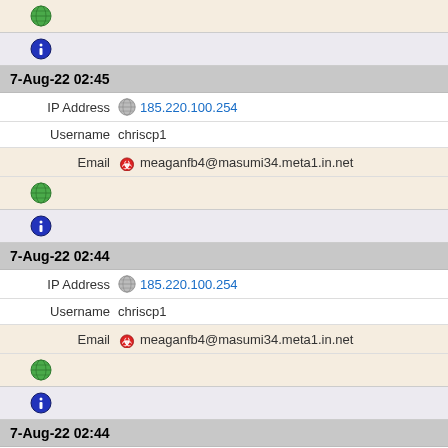[Figure (other): Globe icon (green)]
[Figure (other): Info icon (blue/dark)]
7-Aug-22 02:45
IP Address  185.220.100.254
Username  chriscp1
Email  meaganfb4@masumi34.meta1.in.net
[Figure (other): Globe icon (green)]
[Figure (other): Info icon (blue/dark)]
7-Aug-22 02:44
IP Address  185.220.100.254
Username  chriscp1
Email  meaganfb4@masumi34.meta1.in.net
[Figure (other): Globe icon (green)]
[Figure (other): Info icon (blue/dark)]
7-Aug-22 02:44
IP Address  185.220.100.254
Username  chriscp1